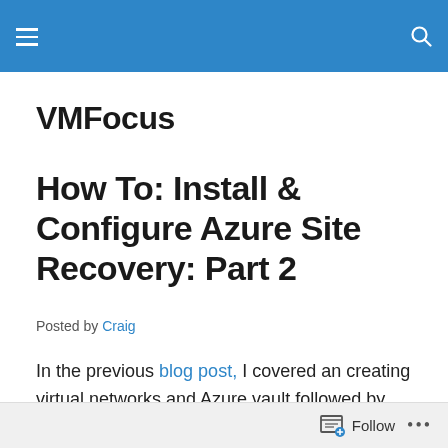VMFocus (navigation bar)
VMFocus
How To: Install & Configure Azure Site Recovery: Part 2
Posted by Craig
In the previous blog post, I covered an creating virtual networks and Azure vault followed by installing the Configuration Server.  Now we move onto the Master Target Server,
Follow ...